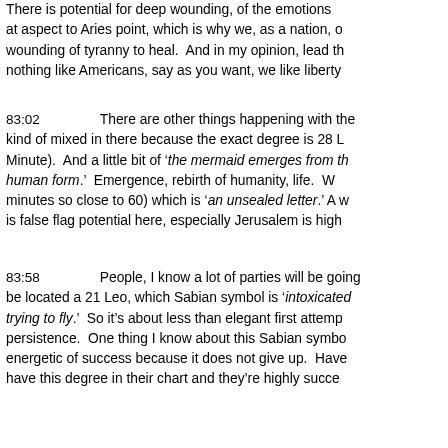There is potential for deep wounding, of the emotions at aspect to Aries point, which is why we, as a nation, o wounding of tyranny to heal. And in my opinion, lead th nothing like Americans, say as you want, we like liberty
83:02   There are other things happening with the kind of mixed in there because the exact degree is 28 L Minute). And a little bit of 'the mermaid emerges from th human form.' Emergence, rebirth of humanity, life. W minutes so close to 60) which is 'an unsealed letter.' A w is false flag potential here, especially Jerusalem is high
83:58   People, I know a lot of parties will be going be located a 21 Leo, which Sabian symbol is 'intoxicated trying to fly.' So it's about less than elegant first attemp persistence. One thing I know about this Sabian symbo energetic of success because it does not give up. Have have this degree in their chart and they're highly succe